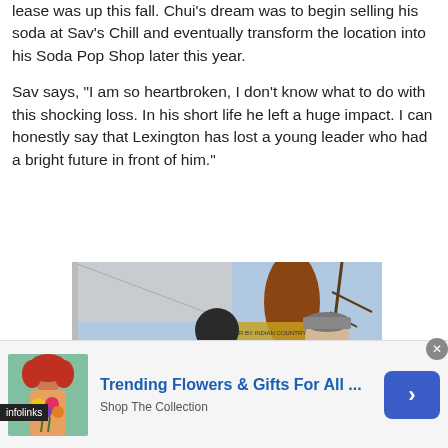lease was up this fall. Chui's dream was to begin selling his soda at Sav's Chill and eventually transform the location into his Soda Pop Shop later this year.
Sav says, "I am so heartbroken, I don't know what to do with this shocking loss. In his short life he left a huge impact. I can honestly say that Lexington has lost a young leader who had a bright future in front of him."
[Figure (photo): Outdoor market scene with people at a vendor stall. A man in a denim jacket is handing something to a person in a green hoodie. Large brown jug/bottle shape visible in background along with a white tent canopy.]
infolinks
[Figure (photo): Advertisement image showing a woman with curly red hair holding colorful flowers.]
Trending Flowers & Gifts For All ... Shop The Collection